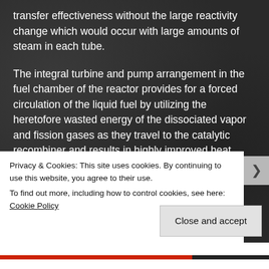transfer effectiveness without the large reactivity change which would occur with large amounts of steam in each tube.
The integral turbine and pump arrangement in the fuel chamber of the reactor provides for a forced circulation of the liquid fuel by utilizing the heretofore wasted energy of the dissociated vapor and fission gases as they travel to the catalytic recombiner and results in highly improved heat transfer conditions within the fuel chamber. The condenser part of the recombiner operates as an economizer for heating the feed water and thus
Privacy & Cookies: This site uses cookies. By continuing to use this website, you agree to their use.
To find out more, including how to control cookies, see here: Cookie Policy
Close and accept